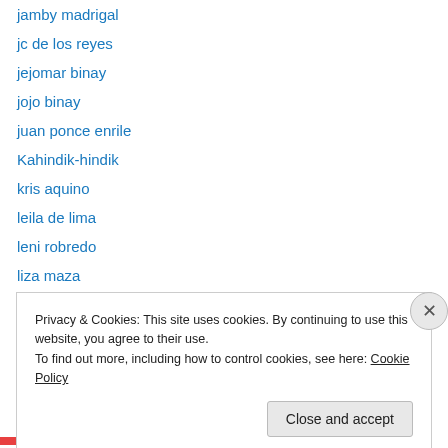jamby madrigal
jc de los reyes
jejomar binay
jojo binay
juan ponce enrile
Kahindik-hindik
kris aquino
leila de lima
leni robredo
liza maza
loren legarda
loren legarda ads
manila hostage
Manny Pacquiao
Privacy & Cookies: This site uses cookies. By continuing to use this website, you agree to their use.
To find out more, including how to control cookies, see here: Cookie Policy
Close and accept